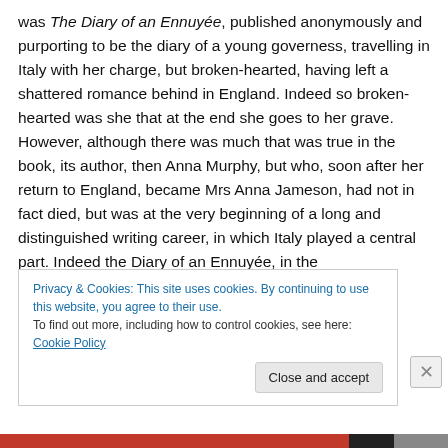was The Diary of an Ennuyée, published anonymously and purporting to be the diary of a young governess, travelling in Italy with her charge, but broken-hearted, having left a shattered romance behind in England. Indeed so broken-hearted was she that at the end she goes to her grave. However, although there was much that was true in the book, its author, then Anna Murphy, but who, soon after her return to England, became Mrs Anna Jameson, had not in fact died, but was at the very beginning of a long and distinguished writing career, in which Italy played a central part. Indeed the Diary of an Ennuyée, in the
Privacy & Cookies: This site uses cookies. By continuing to use this website, you agree to their use.
To find out more, including how to control cookies, see here: Cookie Policy